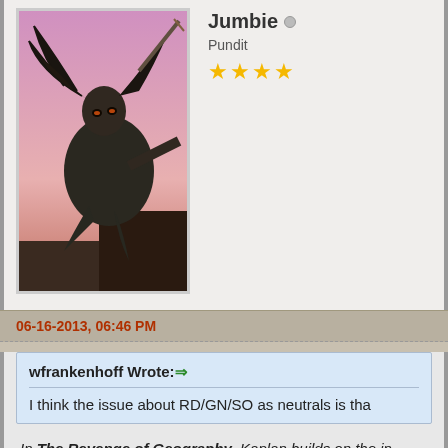[Figure (illustration): Fantasy warrior character crouching with weapon, dark figure against purple/pink sky background, used as forum avatar]
Jumbie
Pundit
★★★★
06-16-2013, 06:46 PM
wfrankenhoff Wrote: → I think the issue about RD/GN/SO as neutrals is tha
In The Revenge of Geography, Kaplan builds on the in thinkers of the near and distant past to look back at critic Kaplan traces the history of the world's hot spots by exa lands.
[Figure (illustration): Yellow crying smiley face emoji with tears, shown partially at bottom of page]